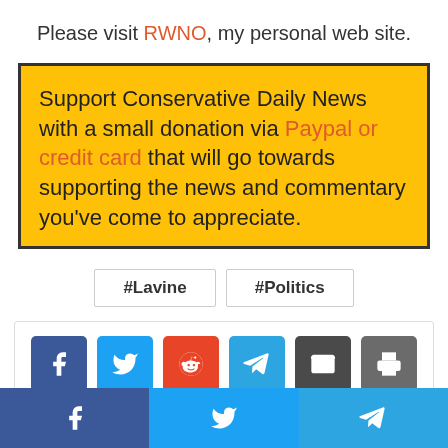Please visit RWNO, my personal web site.
Support Conservative Daily News with a small donation via Paypal or credit card that will go towards supporting the news and commentary you've come to appreciate.
#Lavine
#Politics
[Figure (infographic): Row of social share buttons: Facebook (blue), Twitter (light blue), Reddit (orange-red), Telegram (blue), Email (dark gray), Print (gray)]
Footer bar with Facebook, Twitter, and Telegram icons